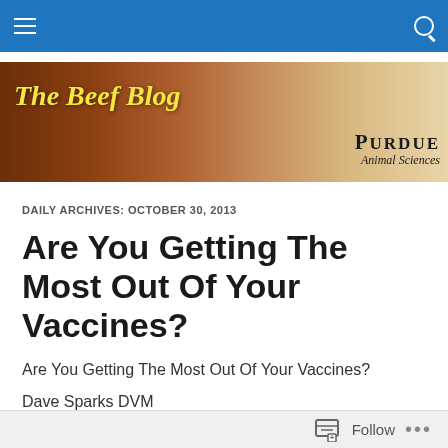The Beef Blog — Purdue Animal Sciences
[Figure (illustration): The Beef Blog banner header with cow fur texture background transitioning from dark brown to light tan, showing 'The Beef Blog' in yellow italic text on the left and 'Purdue Animal Sciences' logo on the right.]
DAILY ARCHIVES: OCTOBER 30, 2013
Are You Getting The Most Out Of Your Vaccines?
Are You Getting The Most Out Of Your Vaccines?
Dave Sparks DVM
Follow